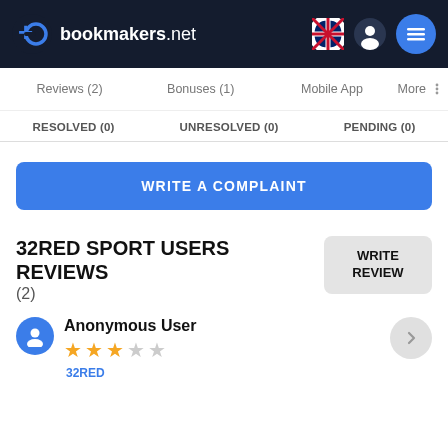bookmakers.net
Reviews (2)
Bonuses (1)
Mobile App
More
RESOLVED (0)
UNRESOLVED (0)
PENDING (0)
WRITE A COMPLAINT
32RED SPORT USERS REVIEWS (2)
WRITE REVIEW
Anonymous User
3 out of 5 stars